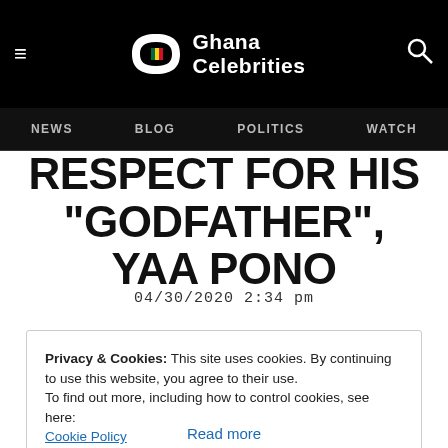Ghana Celebrities — Navigation: NEWS, BLOG, POLITICS, WATCH
RESPECT FOR HIS "GODFATHER", YAA PONO
04/30/2020 2:34 pm
Privacy & Cookies: This site uses cookies. By continuing to use this website, you agree to their use.
To find out more, including how to control cookies, see here:
Cookie Policy
[Close and Accept]
Read more